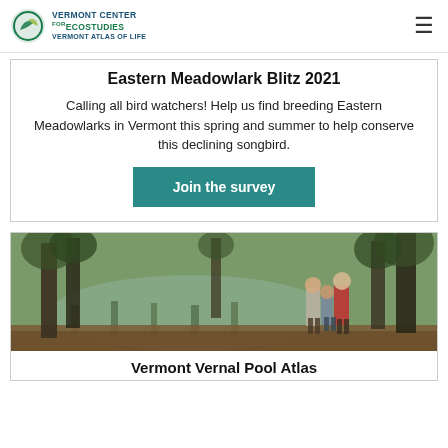Vermont Center for Ecostudies — Vermont Atlas of Life
Eastern Meadowlark Blitz 2021
Calling all bird watchers! Help us find breeding Eastern Meadowlarks in Vermont this spring and summer to help conserve this declining songbird.
Join the survey
[Figure (photo): Three people standing near a forest pond with trees reflected in the water, looking at something off to the side.]
Vermont Vernal Pool Atlas